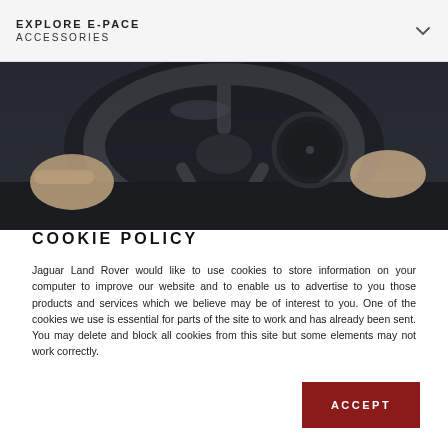EXPLORE E-PACE
ACCESSORIES
[Figure (photo): Close-up photo of a person's hands gripping a dark steering wheel of a Jaguar E-Pace, dark moody interior lighting]
COOKIE POLICY
Jaguar Land Rover would like to use cookies to store information on your computer to improve our website and to enable us to advertise to you those products and services which we believe may be of interest to you. One of the cookies we use is essential for parts of the site to work and has already been sent. You may delete and block all cookies from this site but some elements may not work correctly.
ACCEPT